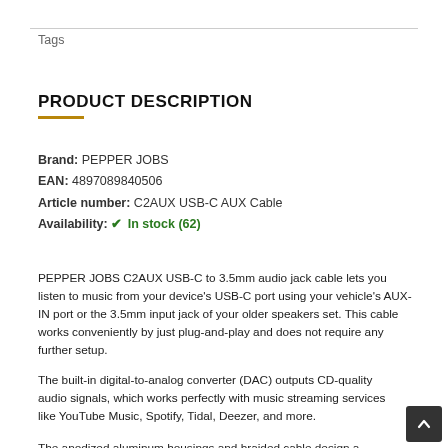Tags
PRODUCT DESCRIPTION
Brand: PEPPER JOBS
EAN: 4897089840506
Article number: C2AUX USB-C AUX Cable
Availability: ✔ In stock (62)
PEPPER JOBS C2AUX USB-C to 3.5mm audio jack cable lets you listen to music from your device's USB-C port using your vehicle's AUX-IN port or the 3.5mm input jack of your older speakers set. This cable works conveniently by just plug-and-play and does not require any further setup.
The built-in digital-to-analog converter (DAC) outputs CD-quality audio signals, which works perfectly with music streaming services like YouTube Music, Spotify, Tidal, Deezer, and more.
The anodized aluminum housings and braided cable design adding extra durability to this product.